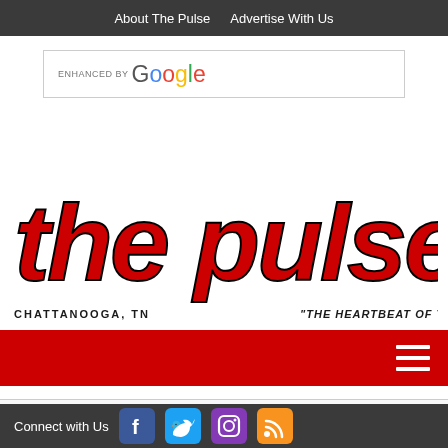About The Pulse  Advertise With Us
[Figure (screenshot): Google enhanced search bar with text 'ENHANCED BY Google']
[Figure (logo): The Pulse logo - large red italic text 'the pulse' with black outline. Subtitle left: 'CHATTANOOGA, TN'. Subtitle right: '"THE HEARTBEAT OF THE CITY"']
[Figure (screenshot): Red navigation bar with white hamburger menu icon (three horizontal lines) on the right]
Developing Studies for Your Paintings with Christopher Groves
Connect with Us